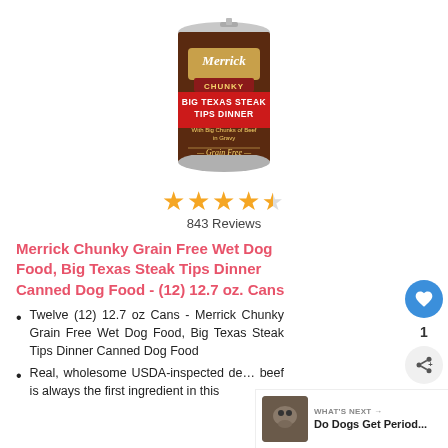[Figure (photo): Merrick Chunky Big Texas Steak Tips Dinner canned dog food product image. A cylindrical can with a dark brown label showing the Merrick Chunky logo, red band with 'BIG TEXAS STEAK TIPS DINNER', 'With Big Chunks of Beef in Gravy' and 'Grain Free' text.]
[Figure (other): 4.5 out of 5 stars rating shown as 4 full gold stars and 1 half star]
843 Reviews
Merrick Chunky Grain Free Wet Dog Food, Big Texas Steak Tips Dinner Canned Dog Food - (12) 12.7 oz. Cans
Twelve (12) 12.7 oz Cans - Merrick Chunky Grain Free Wet Dog Food, Big Texas Steak Tips Dinner Canned Dog Food
Real, wholesome USDA-inspected de... beef is always the first ingredient in this
[Figure (other): WHAT'S NEXT promotional box with a dog photo and text 'Do Dogs Get Period...']